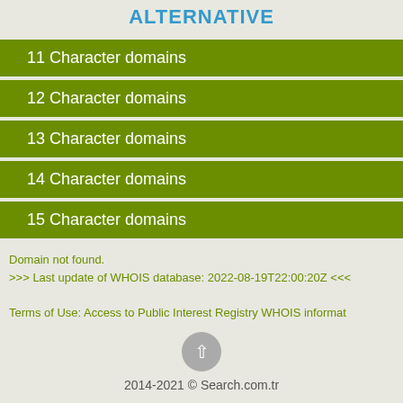ALTERNATIVE
11 Character domains
12 Character domains
13 Character domains
14 Character domains
15 Character domains
Domain not found.
>>> Last update of WHOIS database: 2022-08-19T22:00:20Z <<<

Terms of Use: Access to Public Interest Registry WHOIS informat
2014-2021 © Search.com.tr